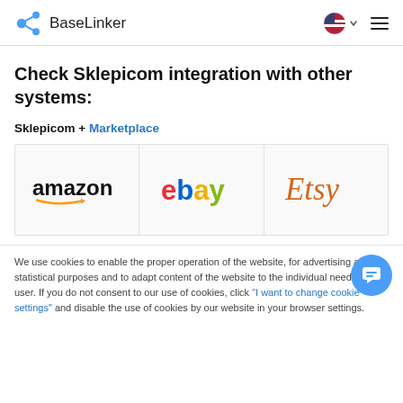BaseLinker
Check Sklepicom integration with other systems:
Sklepicom + Marketplace
[Figure (logo): Amazon logo]
[Figure (logo): eBay logo]
[Figure (logo): Etsy logo]
We use cookies to enable the proper operation of the website, for advertising and statistical purposes and to adapt content of the website to the individual needs of a user. If you do not consent to our use of cookies, click "I want to change cookie settings" and disable the use of cookies by our website in your browser settings.